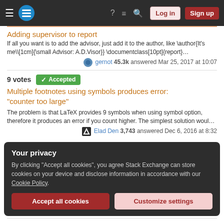Stack Exchange navigation bar with Log in and Sign up buttons
Adding supervisor to report
If all you want is to add the advisor, just add it to the author, like \author{It's me\[1cm]{\small Advisor: A.D.Visor}} \documentclass[10pt]{report}...
gernot 45.3k answered Mar 25, 2017 at 10:07
9 votes  Accepted
Multiple footnotes using symbols produces error: "counter too large"
The problem is that LaTeX provides 9 symbols when using symbol option, therefore it produces an error if you count higher. The simplest solution woul...
Elad Den 3,743 answered Dec 6, 2016 at 8:32
Your privacy
By clicking "Accept all cookies", you agree Stack Exchange can store cookies on your device and disclose information in accordance with our Cookie Policy.
Accept all cookies
Customize settings